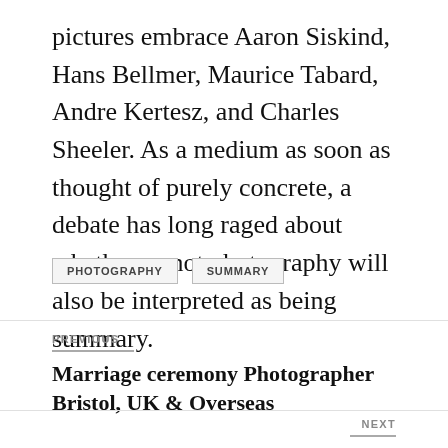pictures embrace Aaron Siskind, Hans Bellmer, Maurice Tabard, Andre Kertesz, and Charles Sheeler. As a medium as soon as thought of purely concrete, a debate has long raged about whether or not photography will also be interpreted as being summary.
PHOTOGRAPHY   SUMMARY
PREVIOUS
Marriage ceremony Photographer Bristol, UK & Overseas
NEXT
How To Turn into Instagram Well-known In 3